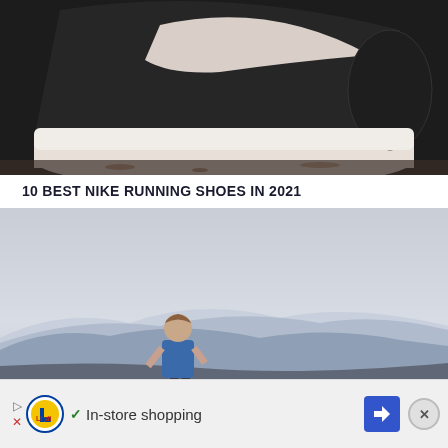[Figure (photo): Close-up photo of a black Nike running shoe with white Nike swoosh logo and white sole, viewed from the side/back on a light-colored surface]
10 BEST NIKE RUNNING SHOES IN 2021
[Figure (photo): A runner wearing a blue sleeveless top stands looking out at a layered mountain range vista with hazy blue mountains receding into the distance under a grey sky]
[Figure (other): Advertisement banner: Lidl logo with checkmark and text 'In-store shopping' with a blue diamond navigation arrow icon and a close (X) button]